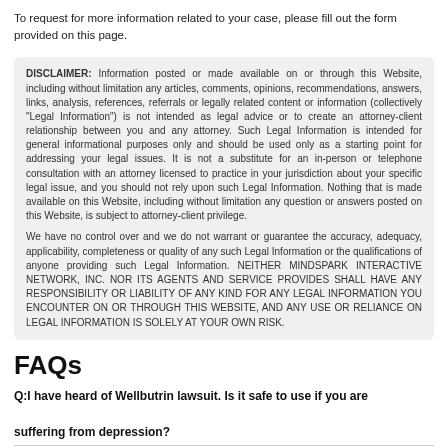To request for more information related to your case, please fill out the form provided on this page.
DISCLAIMER: Information posted or made available on or through this Website, including without limitation any articles, comments, opinions, recommendations, answers, links, analysis, references, referrals or legally related content or information (collectively "Legal Information") is not intended as legal advice or to create an attorney-client relationship between you and any attorney. Such Legal Information is intended for general informational purposes only and should be used only as a starting point for addressing your legal issues. It is not a substitute for an in-person or telephone consultation with an attorney licensed to practice in your jurisdiction about your specific legal issue, and you should not rely upon such Legal Information. Nothing that is made available on this Website, including without limitation any question or answers posted on this Website, is subject to attorney-client privilege.

We have no control over and we do not warrant or guarantee the accuracy, adequacy, applicability, completeness or quality of any such Legal Information or the qualifications of anyone providing such Legal Information. NEITHER MINDSPARK INTERACTIVE NETWORK, INC. NOR ITS AGENTS AND SERVICE PROVIDES SHALL HAVE ANY RESPONSIBILITY OR LIABILITY OF ANY KIND FOR ANY LEGAL INFORMATION YOU ENCOUNTER ON OR THROUGH THIS WEBSITE, AND ANY USE OR RELIANCE ON LEGAL INFORMATION IS SOLELY AT YOUR OWN RISK.
FAQs
Q:I have heard of Wellbutrin lawsuit. Is it safe to use if you are suffering from depression?